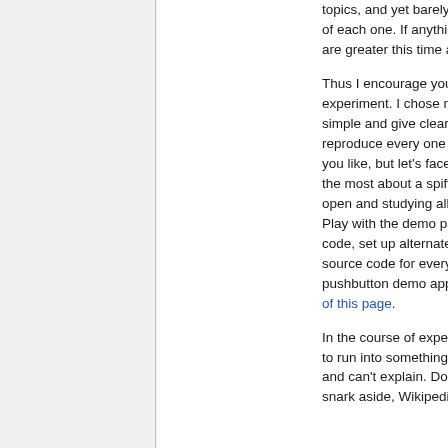topics, and yet barely scratched the surface of each one. If anything, my sins of omission are greater this time around.
Thus I encourage you to dig deeper and experiment. I chose my demos carefully to be simple and give clear results. You can reproduce every one of them on your own if you like, but let's face it: Sometimes we learn the most about a spiffy toy by breaking it open and studying all the pieces that fall out. Play with the demo parameters, hack up the code, set up alternate experiments. The source code for everything, including the little pushbutton demo application, is at the bottom of this page.
In the course of experimentation, you're likely to run into something that you didn't expect and can't explain. Don't worry! My earlier snark aside, Wikipedia